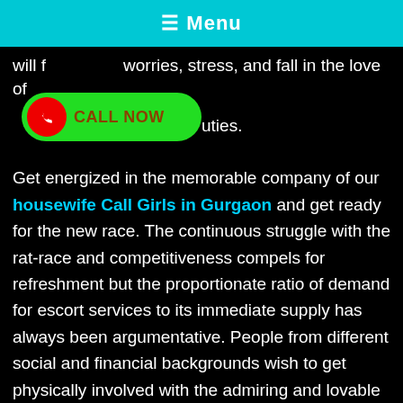≡ Menu
will for...all...worries, stress, and fall in the love of ...uties.
[Figure (other): Green CALL NOW button with red phone icon]
Get energized in the memorable company of our housewife Call Girls in Gurgaon and get ready for the new race. The continuous struggle with the rat-race and competitiveness compels for refreshment but the proportionate ratio of demand for escort services to its immediate supply has always been argumentative. People from different social and financial backgrounds wish to get physically involved with the admiring and lovable call girls to keep their day to day life stress and worries aside for a while. Gurgaon call girls are your ultimate refuge for this fun. Enjoying time with the